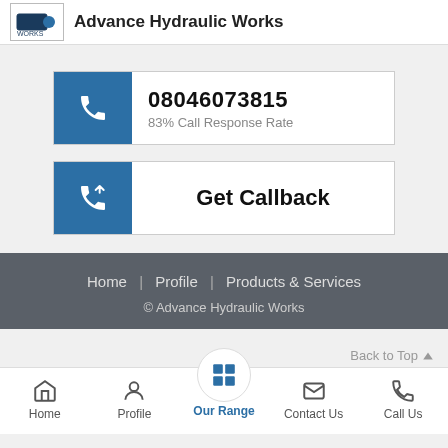Advance Hydraulic Works
08046073815
83% Call Response Rate
Get Callback
Home | Profile | Products & Services
© Advance Hydraulic Works
Back to Top
Home | Profile | Our Range | Contact Us | Call Us